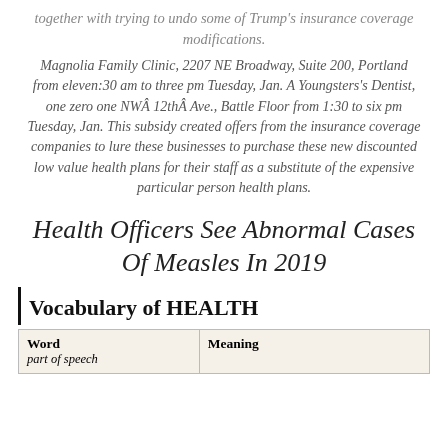together with trying to undo some of Trump's insurance coverage modifications.
Magnolia Family Clinic, 2207 NE Broadway, Suite 200, Portland from eleven:30 am to three pm Tuesday, Jan. A Youngsters's Dentist, one zero one NWÂ 12thÂ Ave., Battle Floor from 1:30 to six pm Tuesday, Jan. This subsidy created offers from the insurance coverage companies to lure these businesses to purchase these new discounted low value health plans for their staff as a substitute of the expensive particular person health plans.
Health Officers See Abnormal Cases Of Measles In 2019
Vocabulary of HEALTH
| Word
part of speech | Meaning |
| --- | --- |